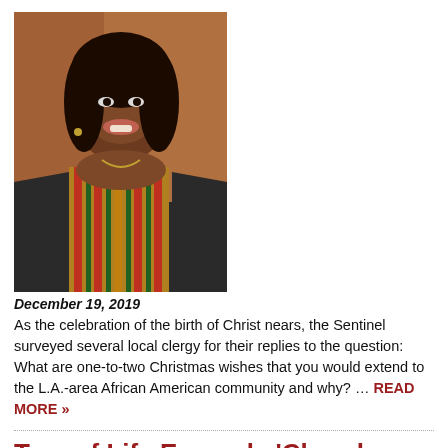[Figure (photo): Portrait photo of a smiling African American woman wearing academic regalia with a colorful kente cloth stole, against a warm brown/red background.]
December 19, 2019
As the celebration of the birth of Christ nears, the Sentinel surveyed several local clergy for their replies to the question: What are one-to-two Christmas wishes that you would extend to the L.A.-area African American community and why? … READ MORE »
Tree of Life Expands 'Church